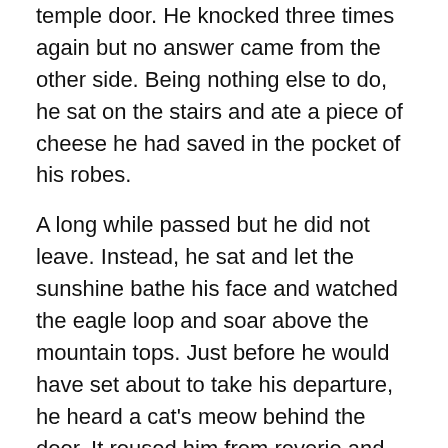temple door. He knocked three times again but no answer came from the other side. Being nothing else to do, he sat on the stairs and ate a piece of cheese he had saved in the pocket of his robes.
A long while passed but he did not leave. Instead, he sat and let the sunshine bathe his face and watched the eagle loop and soar above the mountain tops. Just before he would have set about to take his departure, he heard a cat's meow behind the door. It roused him from reverie and he sprang to the door and knocked three times again.
Not certain he had heard anything at all, he pressed his ear against the door and listened. When it opened, he nearly fell inside but caught himself just before stumbling into the arms of the woman who stood within. She stared at him with a half smile, her dark hair